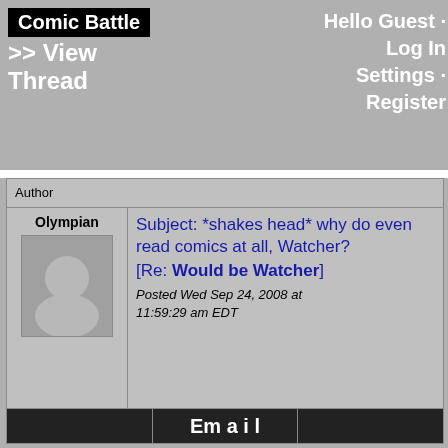Comic Battle >> View Thread
Hello Guest · Log In Settings · Register
| Author |  |
| --- | --- |
| Olympian | Subject: *shakes head* why do even read comics at all, Watcher? [Re: Would be Watcher] Posted Wed Sep 24, 2008 at 11:59:29 am EDT |